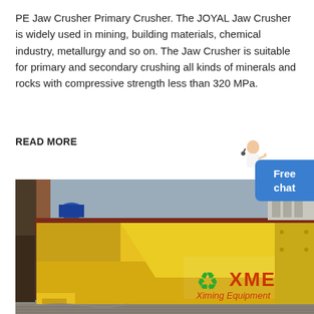PE Jaw Crusher Primary Crusher. The JOYAL Jaw Crusher is widely used in mining, building materials, chemical industry, metallurgy and so on. The Jaw Crusher is suitable for primary and secondary crushing all kinds of minerals and rocks with compressive strength less than 320 MPa.
READ MORE
[Figure (photo): Photo of a large yellow PE Jaw Crusher machine in an industrial facility. The machine bears the XME (Ximing Equipment) logo with a green recycling symbol and red text.]